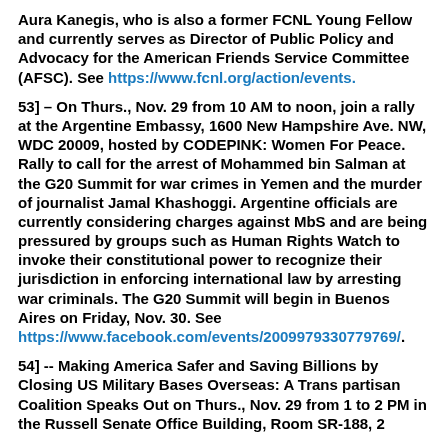Aura Kanegis, who is also a former FCNL Young Fellow and currently serves as Director of Public Policy and Advocacy for the American Friends Service Committee (AFSC). See https://www.fcnl.org/action/events.
53] – On Thurs., Nov. 29 from 10 AM to noon, join a rally at the Argentine Embassy, 1600 New Hampshire Ave. NW, WDC 20009, hosted by CODEPINK: Women For Peace.  Rally to call for the arrest of Mohammed bin Salman at the G20 Summit for war crimes in Yemen and the murder of journalist Jamal Khashoggi. Argentine officials are currently considering charges against MbS and are being pressured by groups such as Human Rights Watch to invoke their constitutional power to recognize their jurisdiction in enforcing international law by arresting war criminals. The G20 Summit will begin in Buenos Aires on Friday, Nov. 30. See https://www.facebook.com/events/2009979330779769/.
54] -- Making America Safer and Saving Billions by Closing US Military Bases Overseas: A Trans partisan Coalition Speaks Out on Thurs., Nov. 29 from 1 to 2 PM in the Russell Senate Office Building, Room SR-188, 2